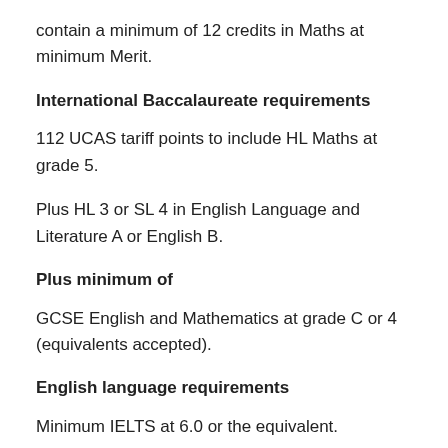contain a minimum of 12 credits in Maths at minimum Merit.
International Baccalaureate requirements
112 UCAS tariff points to include HL Maths at grade 5.
Plus HL 3 or SL 4 in English Language and Literature A or English B.
Plus minimum of
GCSE English and Mathematics at grade C or 4 (equivalents accepted).
English language requirements
Minimum IELTS at 6.0 or the equivalent.